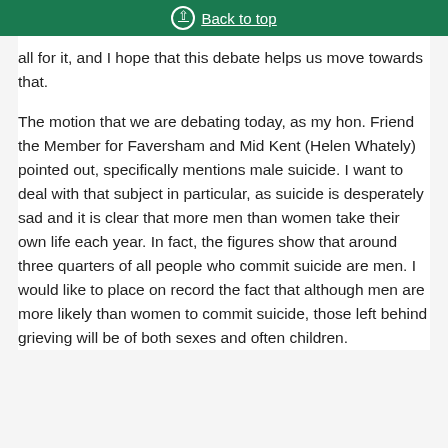Back to top
all for it, and I hope that this debate helps us move towards that.
The motion that we are debating today, as my hon. Friend the Member for Faversham and Mid Kent (Helen Whately) pointed out, specifically mentions male suicide. I want to deal with that subject in particular, as suicide is desperately sad and it is clear that more men than women take their own life each year. In fact, the figures show that around three quarters of all people who commit suicide are men. I would like to place on record the fact that although men are more likely than women to commit suicide, those left behind grieving will be of both sexes and often children.